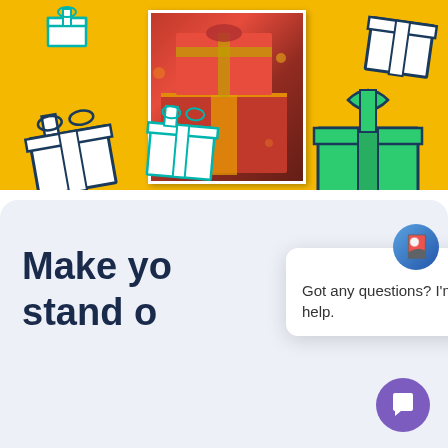[Figure (illustration): Yellow banner with illustrated gift boxes (navy, teal, green) scattered around and a photograph of red Christmas gift boxes near a tree in the center]
Make yo stand o
[Figure (screenshot): Chat popup widget with avatar icon, close button, and message: Got any questions? I'm happy to help.]